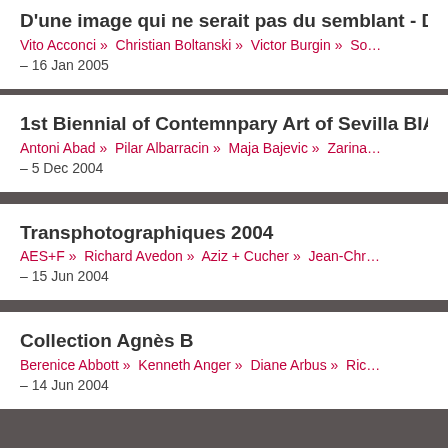D'une image qui ne serait pas du semblant - D…
Vito Acconci » Christian Boltanski » Victor Burgin » So…
– 16 Jan 2005
1st Biennial of Contemnpary Art of Sevilla BIA…
Antoni Abad » Pilar Albarracin » Maja Bajevic » Zarina…
– 5 Dec 2004
Transphotographiques 2004
AES+F » Richard Avedon » Aziz + Cucher » Jean-Chr…
– 15 Jun 2004
Collection Agnès B
Berenice Abbott » Kenneth Anger » Diane Arbus » Ric…
– 14 Jun 2004